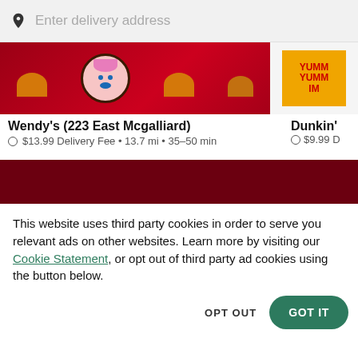Enter delivery address
[Figure (screenshot): Wendy's restaurant banner image with red background, clown mascot and burger icons. Partially visible Dunkin' banner on the right with orange YUMM text.]
Wendy's (223 East Mcgalliard)
$13.99 Delivery Fee • 13.7 mi • 35–50 min
Dunkin'
$9.99 D
[Figure (screenshot): Dark red/maroon banner bar]
This website uses third party cookies in order to serve you relevant ads on other websites. Learn more by visiting our Cookie Statement, or opt out of third party ad cookies using the button below.
OPT OUT
GOT IT